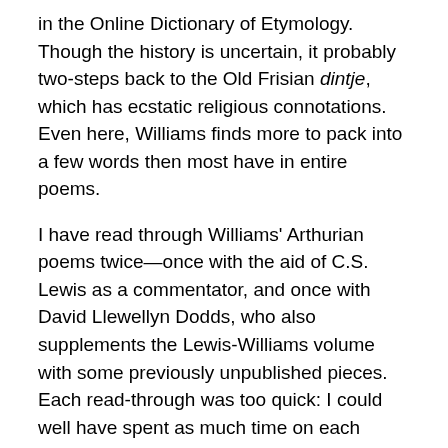in the Online Dictionary of Etymology. Though the history is uncertain, it probably two-steps back to the Old Frisian dintje, which has ecstatic religious connotations. Even here, Williams finds more to pack into a few words then most have in entire poems.
I have read through Williams' Arthurian poems twice—once with the aid of C.S. Lewis as a commentator, and once with David Llewellyn Dodds, who also supplements the Lewis-Williams volume with some previously unpublished pieces. Each read-through was too quick: I could well have spent as much time on each stanza as I did on just this first line. Look how the stanza continues:
The Lupercalia danced on the Palatine among women thrusting under the thong; vicars of Rhea Silvia, vestal, Æneid, Mars-seeded,